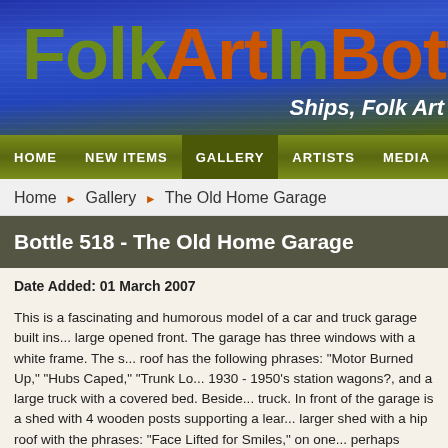FolkArtInBottle - Ships, Folk Art
[Figure (screenshot): Website header banner with 'FolkArtInBott' logo text in olive green and orange on a blue gradient background, with subtitle 'Ships, Folk Art']
HOME | NEW ITEMS | GALLERY | ARTISTS | MEDIA | WO
Home > Gallery > The Old Home Garage
Bottle 518 - The Old Home Garage
Date Added: 01 March 2007
This is a fascinating and humorous model of a car and truck garage built ins... large opened front. The garage has three windows with a white frame. The s... roof has the following phrases: "Motor Burned Up," "Hubs Caped," "Trunk L... 1930 - 1950's station wagons?, and a large truck with a covered bed. Beside... truck. In front of the garage is a shed with 4 wooden posts supporting a lear... larger shed with a hip roof with the phrases: "Face Lifted for Smiles," on one... perhaps representing a semi-truck. In front of the garage and between the t... and green cabs or beds. The vehicles have headlights, front windows and h...